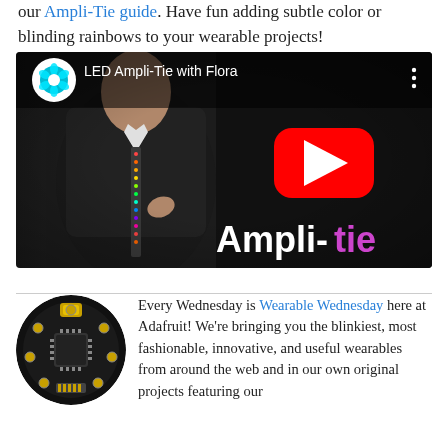our Ampli-Tie guide. Have fun adding subtle color or blinding rainbows to your wearable projects!
[Figure (screenshot): YouTube video thumbnail showing a man in a suit with LED-lit tie, YouTube play button in center, text 'Ampli-tie' in bottom right, title 'LED Ampli-Tie with Flora' at top left with Adafruit Flora logo]
Every Wednesday is Wearable Wednesday here at Adafruit! We're bringing you the blinkiest, most fashionable, innovative, and useful wearables from around the web and in our own original projects featuring our